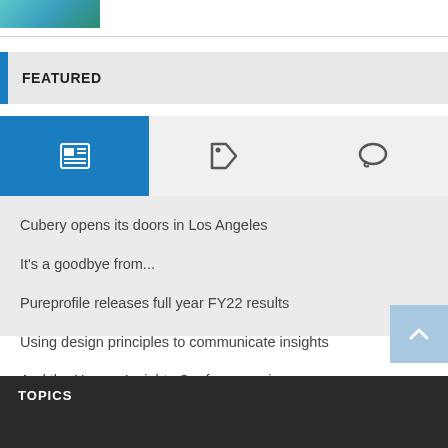[Figure (photo): Small thumbnail image with teal/green tones at top left]
FEATURED
[Figure (infographic): Tab bar with three icons: newspaper/articles icon (active, blue background), tag/label icon, and comment/speech bubble icon]
Cubery opens its doors in Los Angeles
It's a goodbye from...
Pureprofile releases full year FY22 results
Using design principles to communicate insights
And the Human Insights Conference winners are....
TOPICS